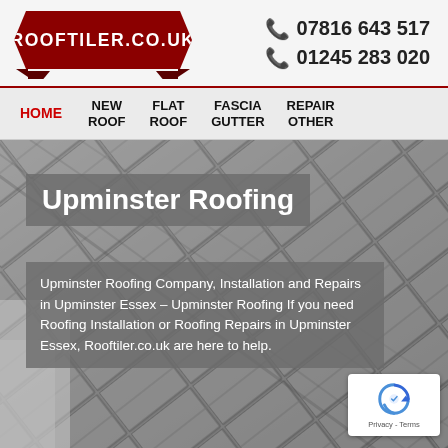[Figure (logo): ROOFTILER.CO.UK logo on dark red ribbon/banner shape]
📞 07816 643 517
📞 01245 283 020
HOME | NEW ROOF | FLAT ROOF | FASCIA GUTTER | REPAIR OTHER
[Figure (photo): Diagonal grey roof tiles/slates photograph used as hero background]
Upminster Roofing
Upminster Roofing Company, Installation and Repairs in Upminster Essex – Upminster Roofing If you need Roofing Installation or Roofing Repairs in Upminster Essex, Rooftiler.co.uk are here to help.